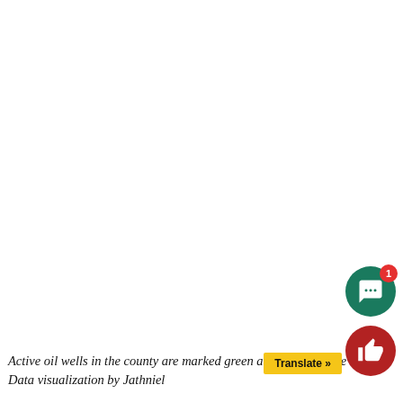Active oil wells in the county are marked green and idle ones are red. Data visualization by Jathniel ...